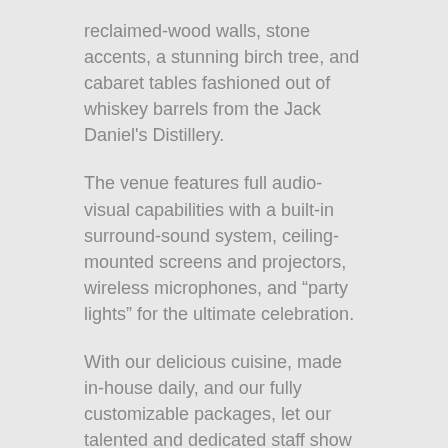reclaimed-wood walls, stone accents, a stunning birch tree, and cabaret tables fashioned out of whiskey barrels from the Jack Daniel's Distillery.
The venue features full audio-visual capabilities with a built-in surround-sound system, ceiling-mounted screens and projectors, wireless microphones, and “party lights” for the ultimate celebration.
With our delicious cuisine, made in-house daily, and our fully customizable packages, let our talented and dedicated staff show you how we host “life’s occasions, elevated.”
View Gallery